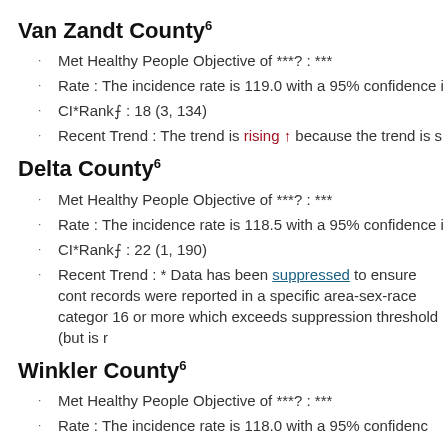Van Zandt County⁶
Met Healthy People Objective of ***? : ***
Rate : The incidence rate is 119.0 with a 95% confidence i
CI*Rank⋔ : 18 (3, 134)
Recent Trend : The trend is rising ↑ because the trend is s
Delta County⁶
Met Healthy People Objective of ***? : ***
Rate : The incidence rate is 118.5 with a 95% confidence i
CI*Rank⋔ : 22 (1, 190)
Recent Trend : * Data has been suppressed to ensure cont records were reported in a specific area-sex-race categor 16 or more which exceeds suppression threshold (but is r
Winkler County⁶
Met Healthy People Objective of ***? : ***
Rate : The incidence rate is 118.0 with a 95% confidence